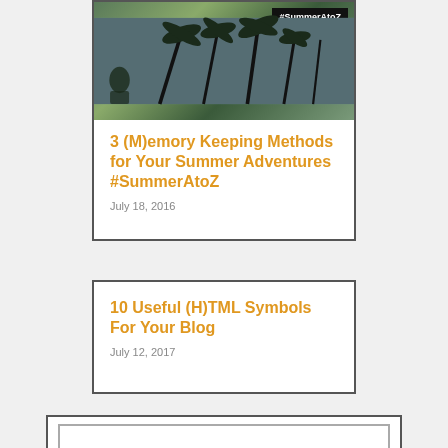[Figure (photo): A palm tree beach photo with a black label '#SummerAtoZ' overlaid in the upper right corner]
3 (M)emory Keeping Methods for Your Summer Adventures #SummerAtoZ
July 18, 2016
10 Useful (H)TML Symbols For Your Blog
July 12, 2017